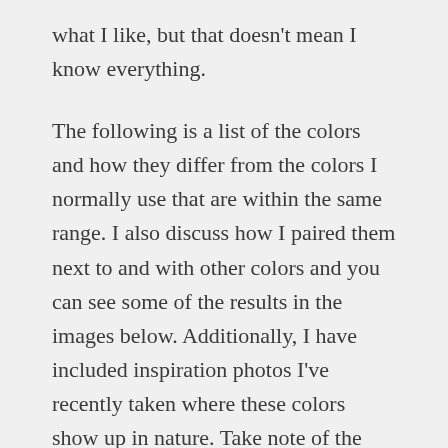what I like, but that doesn't mean I know everything.

The following is a list of the colors and how they differ from the colors I normally use that are within the same range. I also discuss how I paired them next to and with other colors and you can see some of the results in the images below. Additionally, I have included inspiration photos I've recently taken where these colors show up in nature. Take note of the color combinations in the photos, this is what I do for inspiration when creating color palettes. Please check out my favorite encaustic colors blog posts for more about color and how I use it here and here. Going forward, my new studio life on Mars is looking